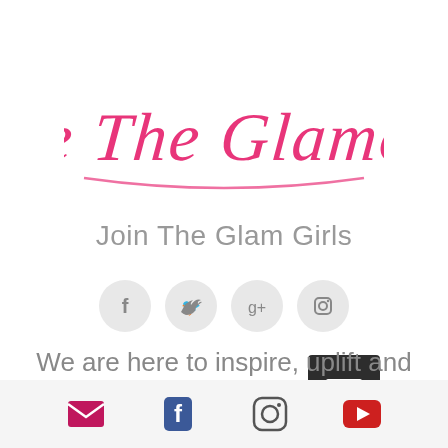[Figure (logo): Live The Glamour script/cursive logo in pink/hot-pink color]
Join The Glam Girls
[Figure (infographic): Four social media icons (Facebook, Twitter, Google+, Instagram) in light grey circles]
[Figure (infographic): Dark grey/charcoal hamburger menu button (three horizontal white lines on dark background)]
We are here to inspire, uplift and
[Figure (infographic): Bottom navigation bar with email, Facebook, Instagram, and YouTube icons on light grey background]